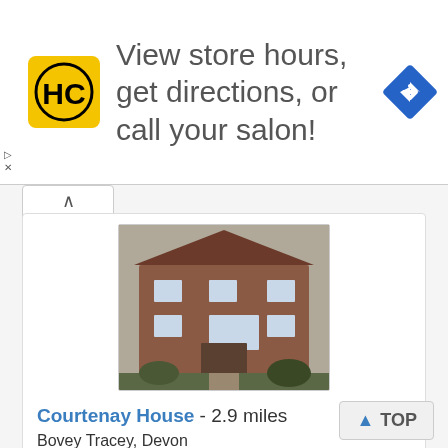[Figure (screenshot): Advertisement banner with HC logo (yellow square with HC text in black), text reading 'View store hours, get directions, or call your salon!', and a blue diamond navigation icon on the right]
[Figure (photo): Photo of Courtenay House, a red brick building with multiple windows and front garden]
Courtenay House - 2.9 miles
Bovey Tracey, Devon
From: £70.00
More bed and breakfasts near Canonteign Falls